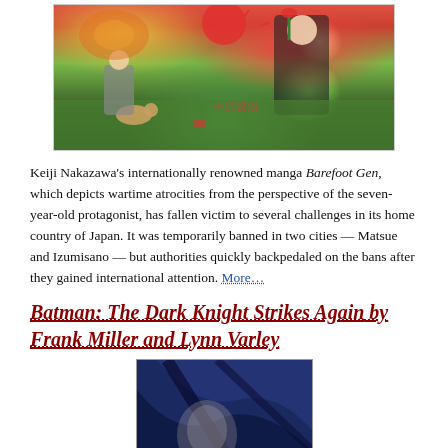[Figure (illustration): Manga-style colorful illustration from Barefoot Gen showing a boy holding a plant with animals and figures in a wartime scene]
Keiji Nakazawa's internationally renowned manga Barefoot Gen, which depicts wartime atrocities from the perspective of the seven-year-old protagonist, has fallen victim to several challenges in its home country of Japan. It was temporarily banned in two cities — Matsue and Izumisano — but authorities quickly backpedaled on the bans after they gained international attention. More…
Batman: The Dark Knight Strikes Again by Frank Miller and Lynn Varley
[Figure (illustration): Close-up illustration of Batman character in dark blue tones]